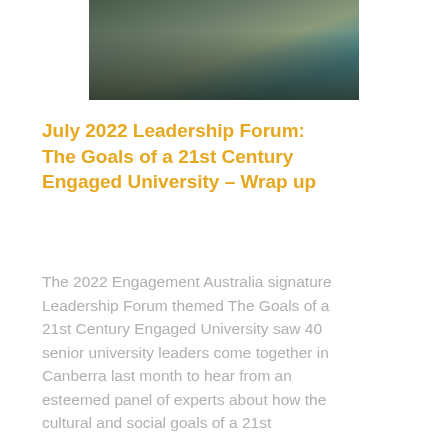[Figure (photo): Cropped photo showing people (likely university graduates or forum attendees) in dark clothing against a teal/green background, partially visible at the top of the page.]
July 2022 Leadership Forum: The Goals of a 21st Century Engaged University – Wrap up
The 2022 Engagement Australia signature Leadership Forum themed The Goals of a 21st Century Engaged University saw 40 senior university leaders come together in Canberra last month to hear from an esteemed panel of experts about how the cultural and social goals of a 21st